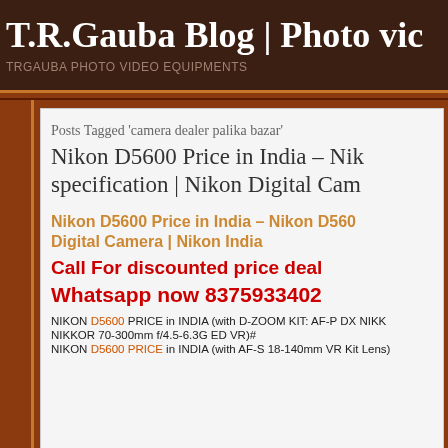T.R.Gauba Blog | Photo vid
TRGAUBA PHOTO VIDEO EQUIPMENTS
Posts Tagged 'camera dealer palika bazar'
Nikon D5600 Price in India – Nikon D5600 specification | Nikon Digital Cam
Nikon D5600 Price in India – Nikon D5600 Digital Camera | Nikon India
Call For discounted price deal
Whatsapp now 8375933402
NIKON D5600 PRICE in INDIA (with D-ZOOM KIT: AF-P DX NIKKO NIKKOR 70-300mm f/4.5-6.3G ED VR)#
NIKON D5600 PRICE in INDIA (with AF-S 18-140mm VR Kit Lens)